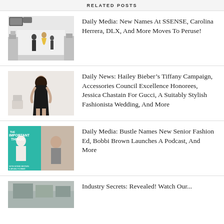RELATED POSTS
Daily Media: New Names At SSENSE, Carolina Herrera, DLX, And More Moves To Peruse!
Daily News: Hailey Bieber’s Tiffany Campaign, Accessories Council Excellence Honorees, Jessica Chastain For Gucci, A Suitably Stylish Fashionista Wedding, And More
Daily Media: Bustle Names New Senior Fashion Ed, Bobbi Brown Launches A Podcast, And More
Industry Secrets: Revealed! Watch Our...